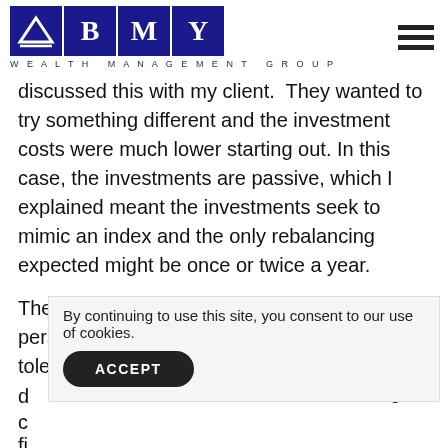BMY Wealth Management Group
discussed this with my client. They wanted to try something different and the investment costs were much lower starting out. In this case, the investments are passive, which I explained meant the investments seek to mimic an index and the only rebalancing expected might be once or twice a year.
There won't be proactive changes if their personal financial situation changes, or if their tolerance is d
c e
fi
By continuing to use this site, you consent to our use of cookies.
ACCEPT